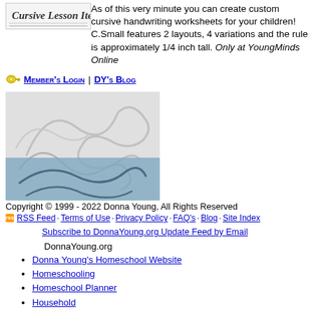[Figure (illustration): Cursive Lesson Item script/logo image at top left]
As of this very minute you can create custom cursive handwriting worksheets for your children! C.Small features 2 layouts, 4 variations and the rule is approximately 1/4 inch tall. Only at YoungMinds Online
🔑 Member's Login | DY's Blog
[Figure (illustration): Signature/logo image of Donna Young with decorative cursive lettering, bottom half has blue overlay]
Copyright © 1999 - 2022 Donna Young, All Rights Reserved
RSS Feed · Terms of Use · Privacy Policy · FAQ's · Blog · Site Index
Subscribe to DonnaYoung.org Update Feed by Email
DonnaYoung.org
Donna Young's Homeschool Website
Homeschooling
Homeschool Planner
Household